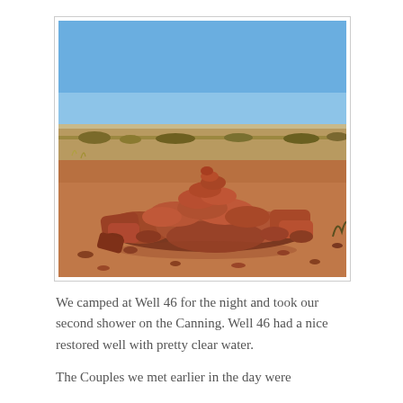[Figure (photo): A large pile of reddish-brown rocks in an arid outback landscape under a clear blue sky, with sparse scrubby vegetation and red dirt ground visible.]
We camped at Well 46 for the night and took our second shower on the Canning. Well 46 had a nice restored well with pretty clear water.
The Couples we met earlier in the day were camped at Well 46 and we ended up chatting